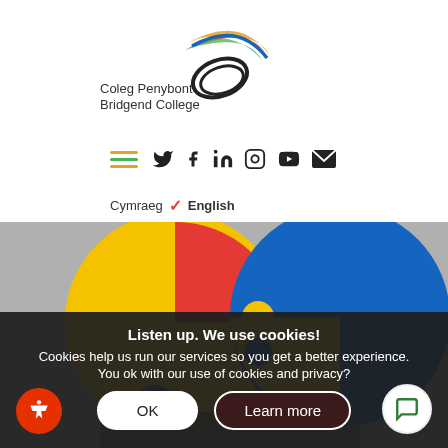[Figure (logo): Coleg Penybont Bridgend College logo with colourful swirl and oval design]
[Figure (infographic): Navigation bar with hamburger menu icon and social media icons for Twitter, Facebook, LinkedIn, Instagram, YouTube, and Email]
Cymraeg  ✓  English
[Figure (photo): Two large colourful jigsaw puzzle circles connecting — one yellow and red, one blue — held by hands in background]
Listen up. We use cookies!
Cookies help us run our services so you get a better experience.
You ok with our use of cookies and privacy?
OK
Learn more